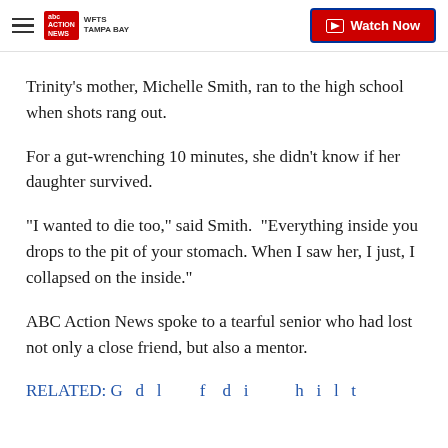WFTS ABC Action News Tampa Bay — Watch Now
Trinity's mother, Michelle Smith, ran to the high school when shots rang out.
For a gut-wrenching 10 minutes, she didn't know if her daughter survived.
“I wanted to die too,” said Smith.  "Everything inside you drops to the pit of your stomach. When I saw her, I just, I collapsed on the inside.”
ABC Action News spoke to a tearful senior who had lost not only a close friend, but also a mentor.
RELATED: ...